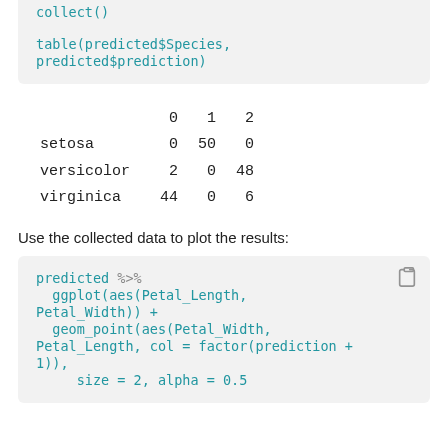collect()

table(predicted$Species,
predicted$prediction)
|  | 0 | 1 | 2 |
| --- | --- | --- | --- |
| setosa | 0 | 50 | 0 |
| versicolor | 2 | 0 | 48 |
| virginica | 44 | 0 | 6 |
Use the collected data to plot the results:
predicted %>%
  ggplot(aes(Petal_Length,
Petal_Width)) +
  geom_point(aes(Petal_Width,
Petal_Length, col = factor(prediction +
1)),
        size = 2, alpha = 0.5